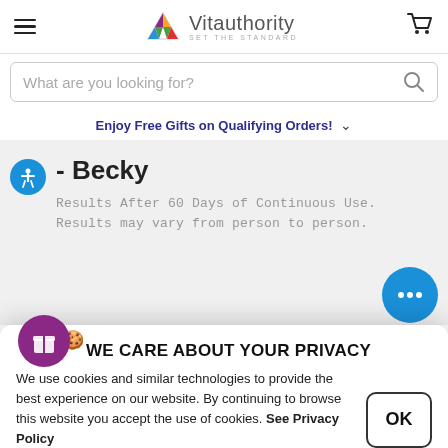Vitauthority — SET THE STANDARD
What are you looking for?
Enjoy Free Gifts on Qualifying Orders!
- Becky
Results After 60 Days of Continuous Use. Results may vary from person to person.
WE CARE ABOUT YOUR PRIVACY
We use cookies and similar technologies to provide the best experience on our website. By continuing to browse this website you accept the use of cookies. See Privacy Policy